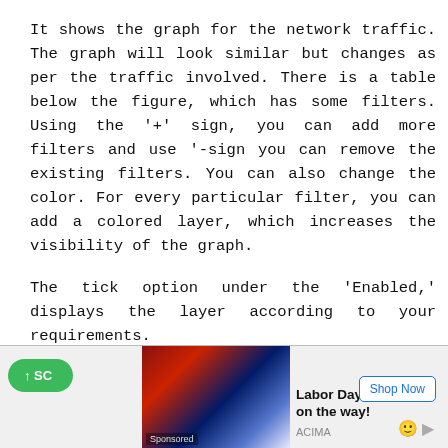It shows the graph for the network traffic. The graph will look similar but changes as per the traffic involved. There is a table below the figure, which has some filters. Using the '+' sign, you can add more filters and use '-sign you can remove the existing filters. You can also change the color. For every particular filter, you can add a colored layer, which increases the visibility of the graph.
The tick option under the 'Enabled,' displays the layer according to your requirements.
For example, we have applied the filter 'TCP errors' and the changes can be viewed easily. The it image shown below:
[Figure (infographic): Advertisement banner at the bottom of the page showing a Labor Day promotion by ACIMA with an image of people holding American flags, a 'Shop Now' button, and a green scroll/scroll button on the left.]